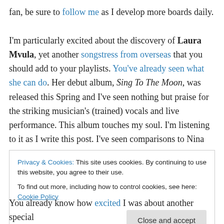fan, be sure to follow me as I develop more boards daily.

I'm particularly excited about the discovery of Laura Mvula, yet another songstress from overseas that you should add to your playlists. You've already seen what she can do. Her debut album, Sing To The Moon, was released this Spring and I've seen nothing but praise for the striking musician's (trained) vocals and live performance. This album touches my soul. I'm listening to it as I write this post. I've seen comparisons to Nina Simone and Lizz Wright and I concur with both. She's
Privacy & Cookies: This site uses cookies. By continuing to use this website, you agree to their use.
To find out more, including how to control cookies, see here: Cookie Policy
[Close and accept]
You already know how excited I was about another special